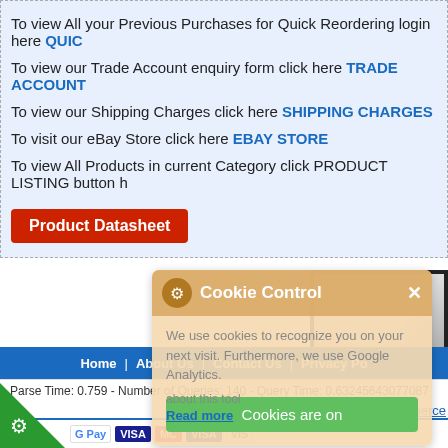To view All your Previous Purchases for Quick Reordering login here QUICK
To view our Trade Account enquiry form click here TRADE ACCOUNT
To view our Shipping Charges click here SHIPPING CHARGES
To visit our eBay Store click here EBAY STORE
To view All Products in current Category click PRODUCT LISTING button h
[Figure (other): Red Product Datasheet button]
Copyright 1987-2019 In-Li
Product
[Figure (other): Cookie Control overlay popup with gear icon, close button, message about cookies and Google Analytics, and green Cookies are on button]
[Figure (photo): Product image with dark border frame]
[Figure (other): PREV and PRODU navigation buttons in red]
Home | About Us | Contact Us | Privacy Po
Parse Time: 0.759 - Number of Queries: 140 - Query Time: 0.63245643077087
Ecommerce
[Figure (other): Payment logos bar: Google Pay, VISA, MasterCard, VISA, and other payment icons]